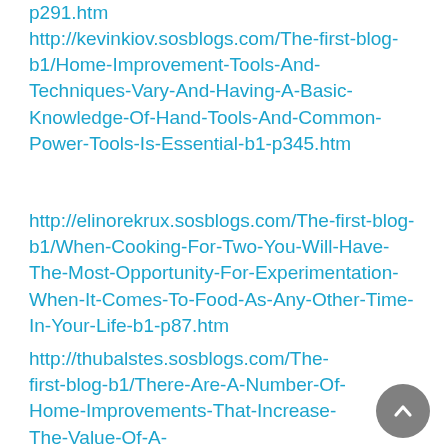p291.htm
http://kevinkiov.sosblogs.com/The-first-blog-b1/Home-Improvement-Tools-And-Techniques-Vary-And-Having-A-Basic-Knowledge-Of-Hand-Tools-And-Common-Power-Tools-Is-Essential-b1-p345.htm
http://elinorekrux.sosblogs.com/The-first-blog-b1/When-Cooking-For-Two-You-Will-Have-The-Most-Opportunity-For-Experimentation-When-It-Comes-To-Food-As-Any-Other-Time-In-Your-Life-b1-p87.htm
http://thubalstes.sosblogs.com/The-first-blog-b1/There-Are-A-Number-Of-Home-Improvements-That-Increase-The-Value-Of-A-